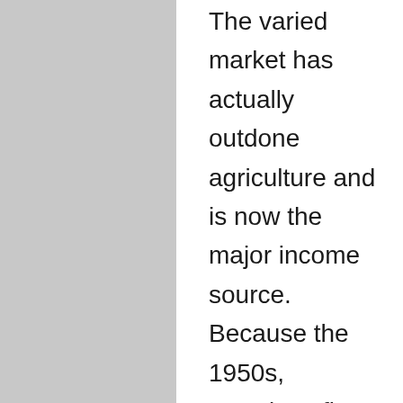The varied market has actually outdone agriculture and is now the major income source. Because the 1950s, American firms have been investing on the island, motivated by the duty-free exchange with the UNITED STATES and tax obligation motivations. The island undergoes US minimum wage regulation. Sugar manufacturing lowered, as well as the milk industry as well as animals production became the primary source of income. Tourism has actually been a vital source of income for many years. It is estimated that in 1999 Puerto Rico was checked out by 5 million tourists. The prognosis for 2000 is